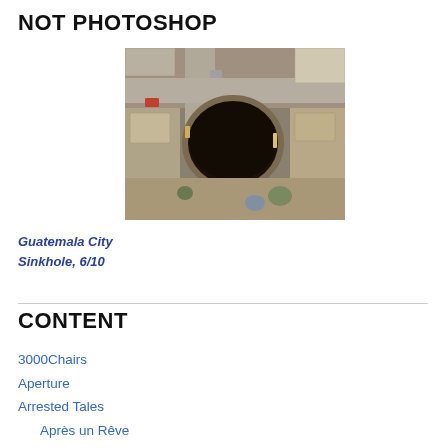NOT PHOTOSHOP
[Figure (photo): Aerial photograph of the Guatemala City sinkhole, showing a large circular hole in the middle of an urban area surrounded by buildings and streets.]
Guatemala City Sinkhole, 6/10
CONTENT
3000Chairs
Aperture
Arrested Tales
Après un Rêve